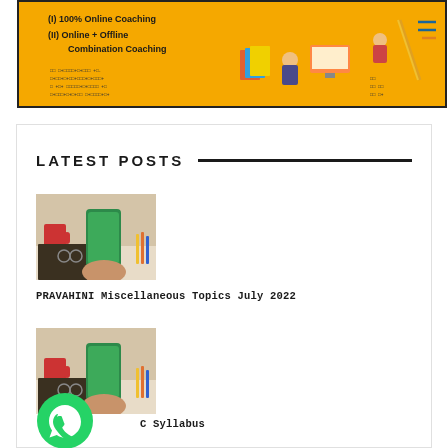[Figure (illustration): Yellow banner with online coaching text and isometric illustration of people working with computers and office supplies. Menu icon top right.]
LATEST POSTS
[Figure (photo): Thumbnail image of a hand holding a smartphone with a green app screen, notebook and red mug in background]
PRAVAHINI Miscellaneous Topics July 2022
[Figure (photo): Thumbnail image of a hand holding a smartphone with a green app screen, notebook and red mug in background]
C Syllabus
[Figure (illustration): WhatsApp green circle icon]